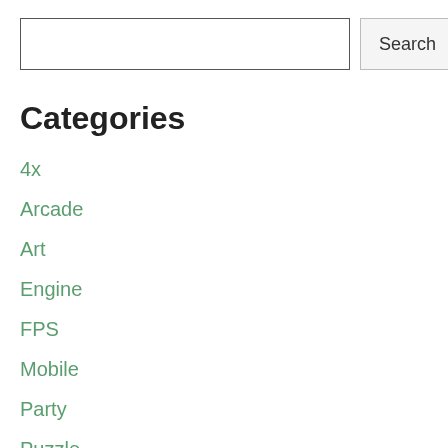Search
Categories
4x
Arcade
Art
Engine
FPS
Mobile
Party
Puzzle
Racing
Roguelike
RPG